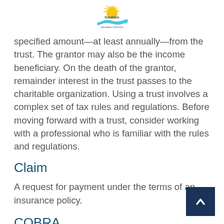Sunshine Insurance logo
specified amount—at least annually—from the trust. The grantor may also be the income beneficiary. On the death of the grantor, remainder interest in the trust passes to the charitable organization. Using a trust involves a complex set of tax rules and regulations. Before moving forward with a trust, consider working with a professional who is familiar with the rules and regulations.
Claim
A request for payment under the terms of an insurance policy.
COBRA